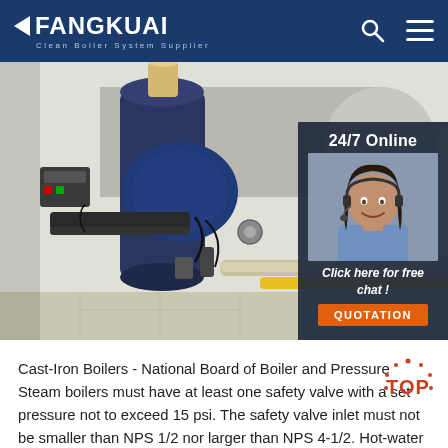FANGKUAI Clean Boiler System Supplier
[Figure (photo): Industrial boiler equipment with blue cylindrical burner unit, yellow gas pipes, and mechanical components in an industrial facility. Overlay shows a customer service representative with headset and '24/7 Online - Click here for free chat! QUOTATION' call-to-action.]
Cast-Iron Boilers - National Board of Boiler and Pressure Steam boilers must have at least one safety valve with a set pressure not to exceed 15 psi. The safety valve inlet must not be smaller than NPS 1/2 nor larger than NPS 4-1/2. Hot-water boilers